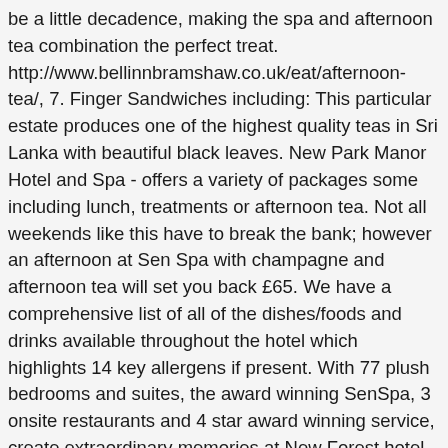be a little decadence, making the spa and afternoon tea combination the perfect treat. http://www.bellinnbramshaw.co.uk/eat/afternoon-tea/, 7. Finger Sandwiches including: This particular estate produces one of the highest quality teas in Sri Lanka with beautiful black leaves. New Park Manor Hotel and Spa - offers a variety of packages some including lunch, treatments or afternoon tea. Not all weekends like this have to break the bank; however an afternoon at Sen Spa with champagne and afternoon tea will set you back £65. We have a comprehensive list of all of the dishes/foods and drinks available throughout the hotel which highlights 14 key allergens if present. With 77 plush bedrooms and suites, the award winning SenSpa, 3 onsite restaurants and 4 star award winning service, create extraordinary memories at New Forest hotel, Careys Manor. Perfect if you've worked up an appetite walking in the nearby Forest. Tea for two – or maybe more? Adults Afternoon Tea is €28.00 per person Children's Afternoon Tea is €15.00 per child. Included in your day's pampering is a 25 minute facial to revive